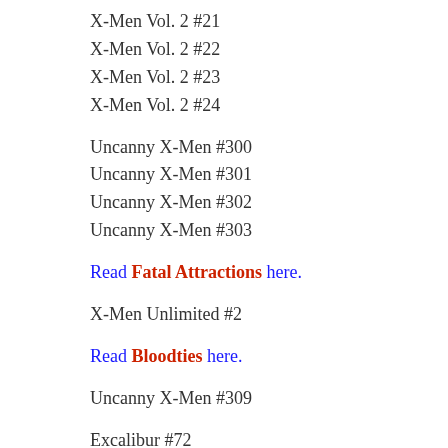X-Men Vol. 2 #21
X-Men Vol. 2 #22
X-Men Vol. 2 #23
X-Men Vol. 2 #24
Uncanny X-Men #300
Uncanny X-Men #301
Uncanny X-Men #302
Uncanny X-Men #303
Read Fatal Attractions here.
X-Men Unlimited #2
Read Bloodties here.
Uncanny X-Men #309
Excalibur #72
Excalibur #73
Excalibur #74
Excalibur #75
Iron Man #300